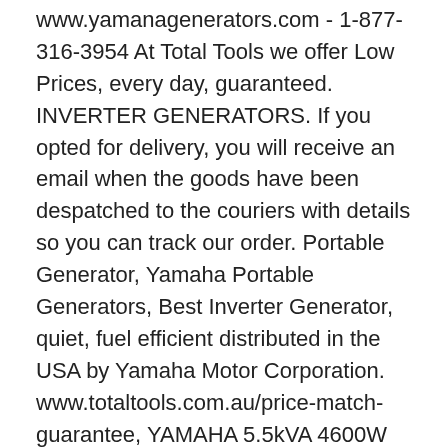www.yamanagenerators.com - 1-877-316-3954 At Total Tools we offer Low Prices, every day, guaranteed. INVERTER GENERATORS. If you opted for delivery, you will receive an email when the goods have been despatched to the couriers with details so you can track our order. Portable Generator, Yamaha Portable Generators, Best Inverter Generator, quiet, fuel efficient distributed in the USA by Yamaha Motor Corporation. www.totaltools.com.au/price-match-guarantee, YAMAHA 5.5kVA 4600W 28L Petrol Generator EF5500FW, YAMAHA 2kva Recoil Invert Petrol Generator. The powerful Yamaha MZ175 OHV provides an continuous output of 2000W and a max output of 2300W.